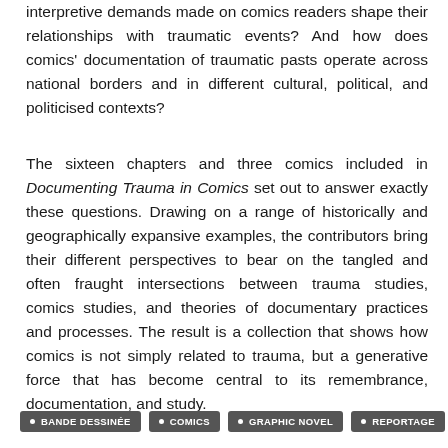interpretive demands made on comics readers shape their relationships with traumatic events? And how does comics' documentation of traumatic pasts operate across national borders and in different cultural, political, and politicised contexts?
The sixteen chapters and three comics included in Documenting Trauma in Comics set out to answer exactly these questions. Drawing on a range of historically and geographically expansive examples, the contributors bring their different perspectives to bear on the tangled and often fraught intersections between trauma studies, comics studies, and theories of documentary practices and processes. The result is a collection that shows how comics is not simply related to trauma, but a generative force that has become central to its remembrance, documentation, and study.
BANDE DESSINÉE
COMICS
GRAPHIC NOVEL
REPORTAGE